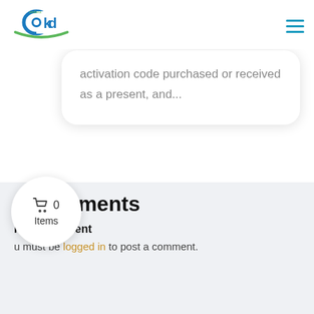[Figure (logo): EKD logo with green arrow and blue text]
[Figure (other): Hamburger menu icon with three teal horizontal lines]
activation code purchased or received as a present, and...
« Older Entries
0 Comments
Submit a Comment
You must be logged in to post a comment.
[Figure (other): Shopping cart bubble showing 0 Items]